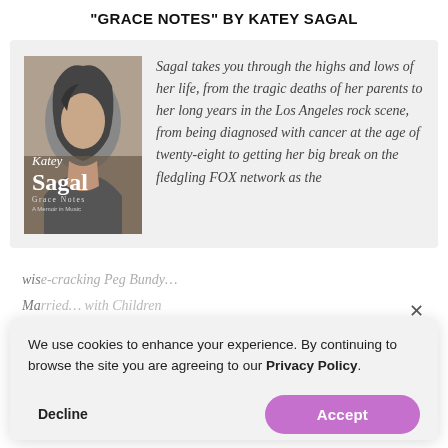"GRACE NOTES" BY KATEY SAGAL
[Figure (photo): Book cover of Grace Notes by Katey Sagal — black and white portrait of a woman with dark hair, with the author's name overlaid in white serif text]
Sagal takes you through the highs and lows of her life, from the tragic deaths of her parents to her long years in the Los Angeles rock scene, from being diagnosed with cancer at the age of twenty-eight to getting her big break on the fledgling FOX network as the
wis
Ma
We use cookies to enhance your experience. By continuing to browse the site you are agreeing to our Privacy Policy.
Decline
Accept